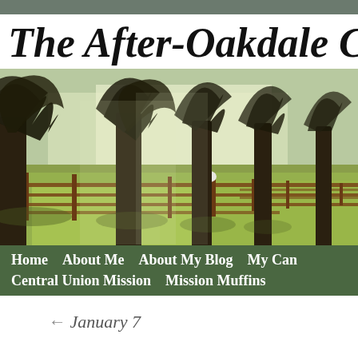The After-Oakdale C
[Figure (photo): A scenic outdoor photo showing a row of large bare deciduous trees along a wooden fence line, with sunlit green/yellow grass and sheep visible in the background]
Home   About Me   About My Blog   My Can   Central Union Mission   Mission Muffins
← January 7